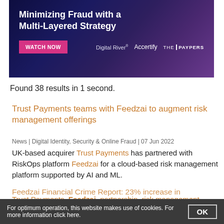[Figure (infographic): Banner advertisement: 'Minimizing Fraud with a Multi-Layered Strategy' with WATCH NOW button and logos for Digital River, Accertify, and The Paypers on a dark blue/purple gradient background.]
Found 38 results in 1 second.
Trust Payments teams with Feedzai to augment risk management offerings
News | Digital Identity, Security & Online Fraud | 07 Jun 2022
UK-based acquirer Trust Payments has partnered with RiskOps platform Feedzai for a cloud-based risk management platform supported by AI and ML.
Trust Payments, Feedzai, partnership, risk management, behavioural biometrics, AML
Feedzai Financial Crime Report: 23% increase in
For optimum operation, this website makes use of cookies. For more information click here.